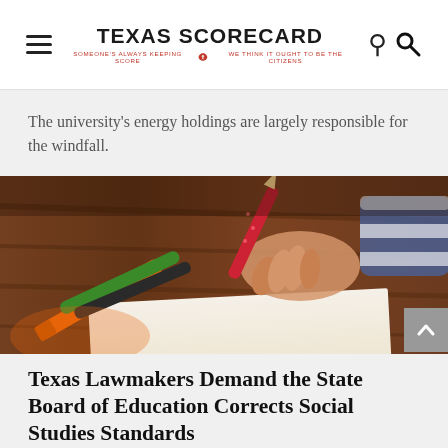TEXAS SCORECARD — SOMEONE'S ALWAYS KEEPING SCORE — WE THINK IT OUGHT TO BE THE CITIZENS
The university's energy holdings are largely responsible for the windfall.
[Figure (photo): A child's hand holding a red pencil, writing or drawing on paper, with colored crayons (orange, green, dark) visible on a wooden desk surface.]
Texas Lawmakers Demand the State Board of Education Corrects Social Studies Standards